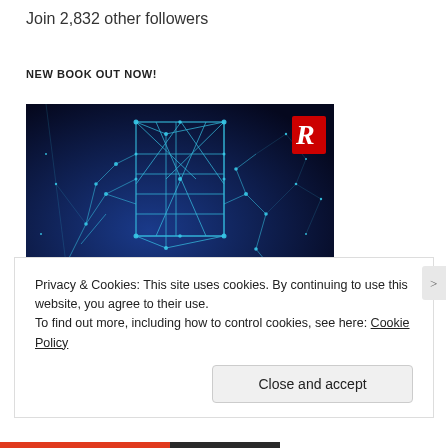Join 2,832 other followers
NEW BOOK OUT NOW!
[Figure (photo): Book cover with dark blue background showing a glowing blue wireframe polygon figure holding a rectangular book-like object. Routledge logo (R) visible in top right corner.]
Privacy & Cookies: This site uses cookies. By continuing to use this website, you agree to their use.
To find out more, including how to control cookies, see here: Cookie Policy
Close and accept